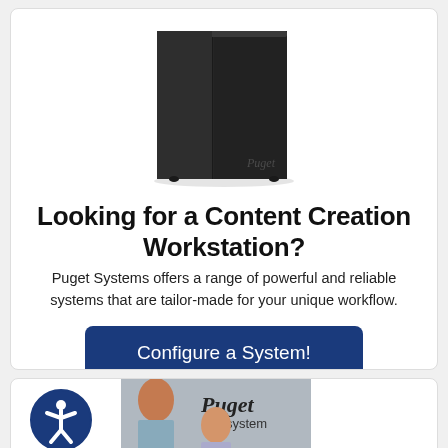[Figure (photo): A black desktop computer tower/workstation with a Puget Systems logo on the front]
Looking for a Content Creation Workstation?
Puget Systems offers a range of powerful and reliable systems that are tailor-made for your unique workflow.
Configure a System!
[Figure (photo): Accessibility icon (person in circle) and a partial photo showing two people in front of a Puget Systems sign/logo]